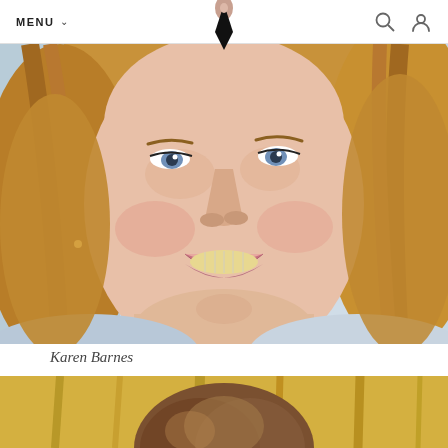MENU
[Figure (photo): Close-up portrait of a smiling blonde woman (Karen Barnes), cropped from chin to top of head, photographed in a bright indoor setting.]
Karen Barnes
[Figure (photo): Partial portrait of a person with brown hair, showing the top of the head, cropped at bottom of frame.]